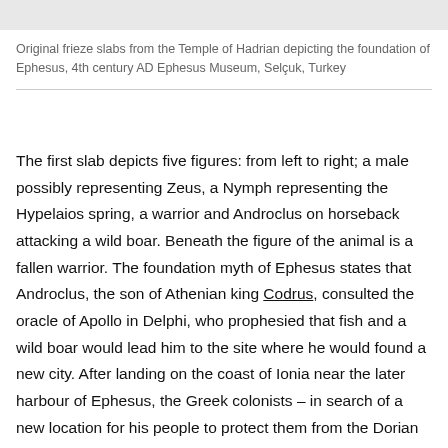Original frieze slabs from the Temple of Hadrian depicting the foundation of Ephesus, 4th century AD Ephesus Museum, Selçuk, Turkey
The first slab depicts five figures: from left to right; a male possibly representing Zeus, a Nymph representing the Hypelaios spring, a warrior and Androclus on horseback attacking a wild boar. Beneath the figure of the animal is a fallen warrior. The foundation myth of Ephesus states that Androclus, the son of Athenian king Codrus, consulted the oracle of Apollo in Delphi, who prophesied that fish and a wild boar would lead him to the site where he would found a new city. After landing on the coast of Ionia near the later harbour of Ephesus, the Greek colonists – in search of a new location for his people to protect them from the Dorian invasion – cooked some fish. One of them leapt out